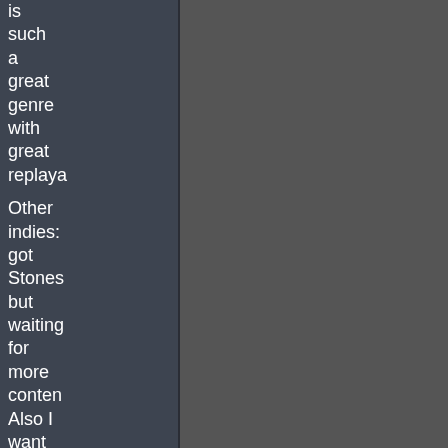is such a great genre with great replaya
Other indies: got Stones but waiting for more content Also I want to try Spelun 2 someday and Factori and Rimwo xD